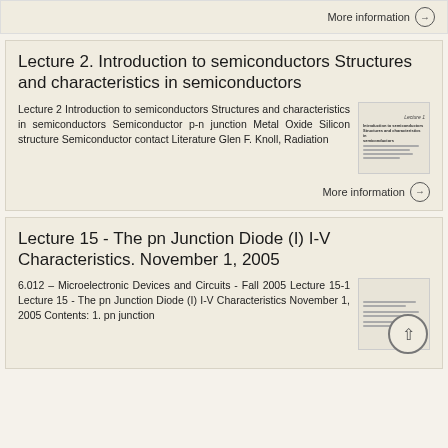More information →
Lecture 2. Introduction to semiconductors Structures and characteristics in semiconductors
Lecture 2 Introduction to semiconductors Structures and characteristics in semiconductors Semiconductor p-n junction Metal Oxide Silicon structure Semiconductor contact Literature Glen F. Knoll, Radiation
More information →
Lecture 15 - The pn Junction Diode (I) I-V Characteristics. November 1, 2005
6.012 – Microelectronic Devices and Circuits - Fall 2005 Lecture 15-1 Lecture 15 - The pn Junction Diode (I) I-V Characteristics November 1, 2005 Contents: 1. pn junction